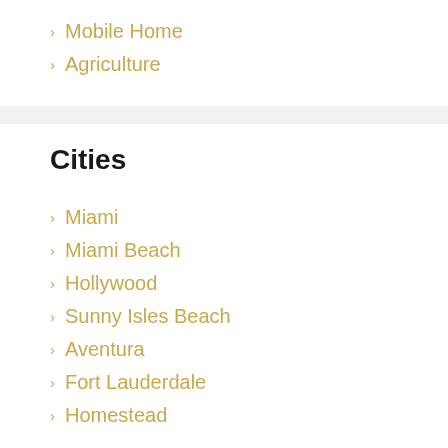Mobile Home
Agriculture
Cities
Miami
Miami Beach
Hollywood
Sunny Isles Beach
Aventura
Fort Lauderdale
Homestead